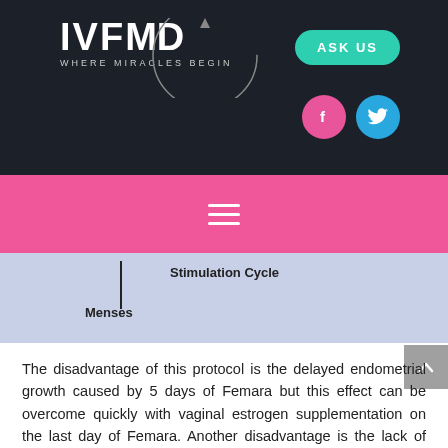[Figure (logo): IVFMD logo with 'WHERE MIRACLES BEGIN' tagline on dark background, with circle arc graphic]
[Figure (other): Teal rounded ASK US button, pink Facebook icon circle, blue Twitter icon circle]
[Figure (other): Pink navigation bar with white hamburger menu icon (three horizontal lines)]
[Figure (schematic): Light blue diagram bar showing Stimulation Cycle label with vertical line and Menses label]
The disadvantage of this protocol is the delayed endometrial growth caused by 5 days of Femara but this effect can be overcome quickly with vaginal estrogen supplementation on the last day of Femara. Another disadvantage is the lack of flexibility in cycle planning as there is no way to plan ahead the start of ovarian stimulation. However, for a patient who desires